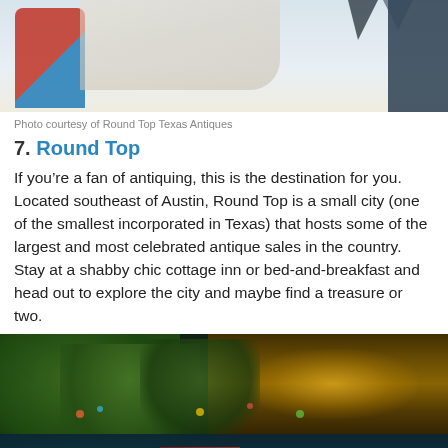[Figure (photo): Top portion of a photo showing people at what appears to be an antique market or fair, with someone in a red/orange jacket visible on the left]
Photo courtesy of Round Top Texas Antiques
7. Round Top
If you’re a fan of antiquing, this is the destination for you. Located southeast of Austin, Round Top is a small city (one of the smallest incorporated in Texas) that hosts some of the largest and most celebrated antique sales in the country. Stay at a shabby chic cottage inn or bed-and-breakfast and head out to explore the city and maybe find a treasure or two.
[Figure (photo): Night photo of the San Antonio River Walk with green trees, glowing lights from buildings and restaurants, and a river in the foreground with boats]